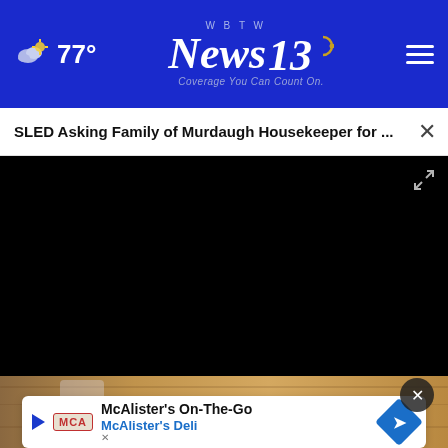77° | WBTW News 13 - Coverage You Can Count On. | Menu
SLED Asking Family of Murdaugh Housekeeper for ...
[Figure (screenshot): Black video player area with playback controls: play button, mute button, 00:00 timestamp, fullscreen button, and a progress bar with white dot indicator at the start.]
[Figure (photo): Partial photo visible at bottom of page showing a glass on a wooden surface, with a McAlister's Deli advertisement overlay.]
McAlister's On-The-Go — McAlister's Deli